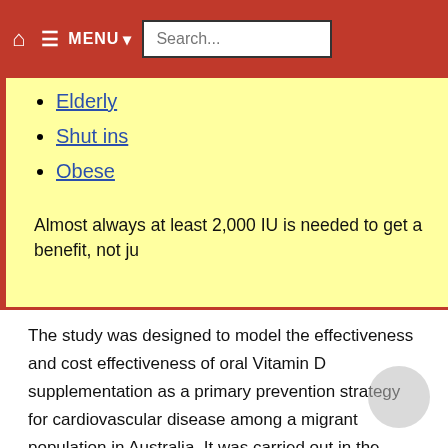MENU  Search...
Elderly
Shut ins
Obese
Almost always at least 2,000 IU is needed to get a benefit, not ju
The study was designed to model the effectiveness and cost effectiveness of oral Vitamin D supplementation as a primary prevention strategy for cardiovascular disease among a migrant population in Australia. It was carried out in the Community Health Service, Kensington, Melbourne. Best-case scenario analysis using a Markov model was employed to look at the health care providers’ perspective. Adult migrants who were vitamin D deficient and free from cardiovascular disease visiting the medical